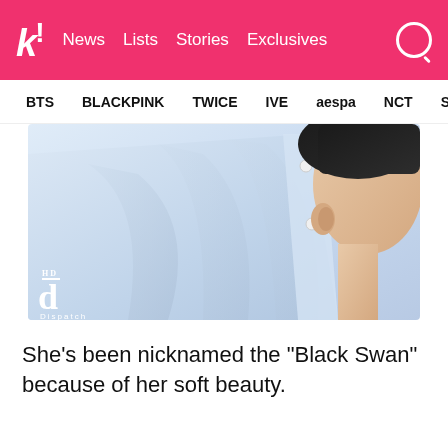k! News Lists Stories Exclusives
BTS BLACKPINK TWICE IVE aespa NCT SEVE
[Figure (photo): Close-up photo of a person in a light blue shirt, showing the torso and partial profile of their face/ear from the side. Dispatch watermark logo visible in bottom-left corner.]
She’s been nicknamed the “Black Swan” because of her soft beauty.